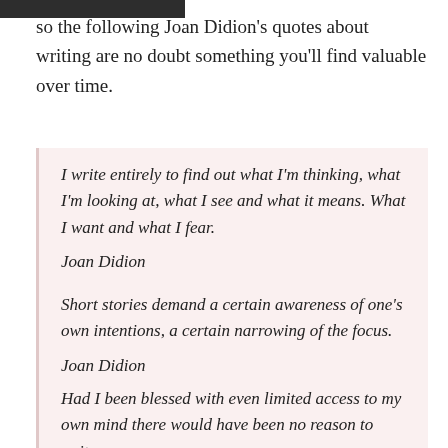so the following Joan Didion's quotes about writing are no doubt something you'll find valuable over time.
I write entirely to find out what I'm thinking, what I'm looking at, what I see and what it means. What I want and what I fear.
Joan Didion
Short stories demand a certain awareness of one's own intentions, a certain narrowing of the focus.
Joan Didion
Had I been blessed with even limited access to my own mind there would have been no reason to write.
Joan Didion